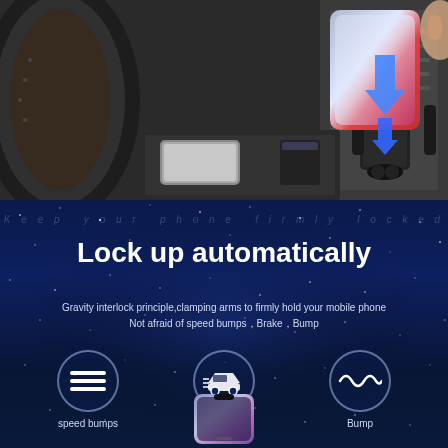[Figure (photo): Photograph showing a smartphone being inserted downward into a car air vent phone mount, with blue arrows indicating the downward insertion motion. The car dashboard and steering wheel are visible in the background.]
Keep your phone firmly locked
Lock up automatically
Gravity interlock principle,clamping arms to firmly hold your mobile phone Not afraid of speed bumps，Brake，Bump
[Figure (infographic): Three circular icons on a dark blue starry background. Left icon shows horizontal lines representing speed bumps, labeled 'speed bumps'. Middle icon shows a car braking, labeled 'Brake'. Right icon shows a wavy line representing bumps, labeled 'Bump'.]
[Figure (photo): A smartphone partially visible at the bottom of the image, placed in the phone mount.]